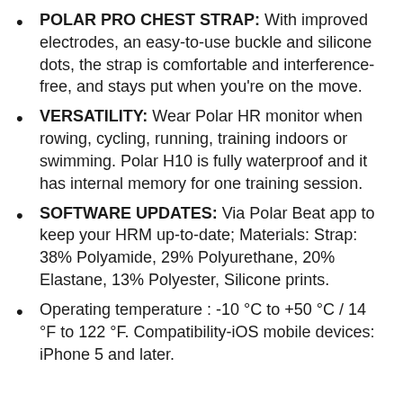POLAR PRO CHEST STRAP: With improved electrodes, an easy-to-use buckle and silicone dots, the strap is comfortable and interference-free, and stays put when you're on the move.
VERSATILITY: Wear Polar HR monitor when rowing, cycling, running, training indoors or swimming. Polar H10 is fully waterproof and it has internal memory for one training session.
SOFTWARE UPDATES: Via Polar Beat app to keep your HRM up-to-date; Materials: Strap: 38% Polyamide, 29% Polyurethane, 20% Elastane, 13% Polyester, Silicone prints.
Operating temperature : -10 °C to +50 °C / 14 °F to 122 °F. Compatibility-iOS mobile devices: iPhone 5 and later.